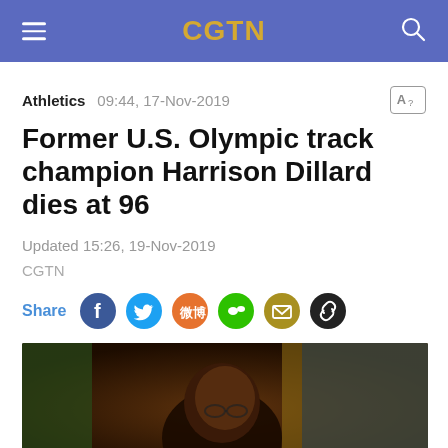CGTN
Athletics  09:44, 17-Nov-2019
Former U.S. Olympic track champion Harrison Dillard dies at 96
Updated 15:26, 19-Nov-2019
CGTN
Share
[Figure (photo): Photo of Harrison Dillard, an elderly man wearing glasses, with a colorful background]